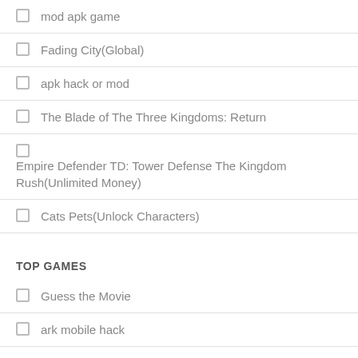mod apk game
Fading City(Global)
apk hack or mod
The Blade of The Three Kingdoms: Return
Empire Defender TD: Tower Defense The Kingdom Rush(Unlimited Money)
Cats Pets(Unlock Characters)
TOP GAMES
Guess the Movie
ark mobile hack